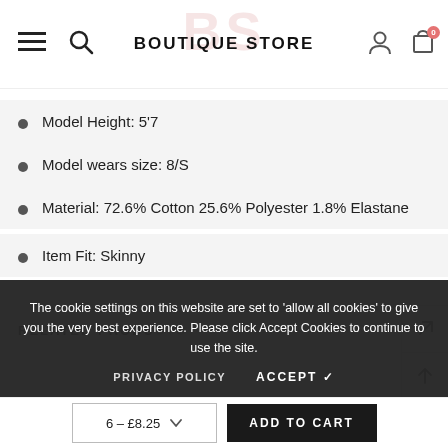BOUTIQUE STORE
Model Height: 5'7
Model wears size: 8/S
Material: 72.6% Cotton 25.6% Polyester 1.8% Elastane
Item Fit: Skinny
The cookie settings on this website are set to 'allow all cookies' to give you the very best experience. Please click Accept Cookies to continue to use the site.
PRIVACY POLICY     ACCEPT ✓
RELATED PRODUCTS
6 – £8.25     ADD TO CART